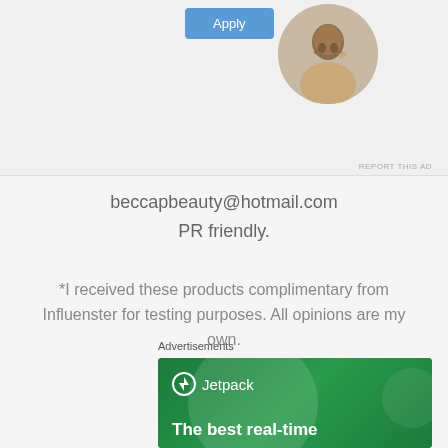[Figure (photo): Blue Apply button and circular avatar photo of a man thinking, on a light gray background]
REPORT THIS AD
beccapbeauty@hotmail.com
PR friendly.
*I received these products complimentary from Influenster for testing purposes. All opinions are my own.
Advertisements
[Figure (illustration): Jetpack advertisement banner with green background, Jetpack logo, and text 'The best real-time']